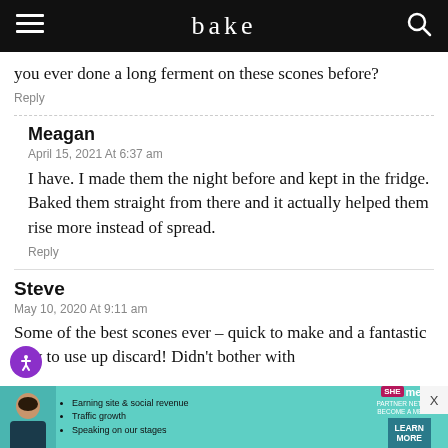bake
you ever done a long ferment on these scones before?
Reply
Meagan
April 15, 2021 At 6:37 am
I have. I made them the night before and kept in the fridge. Baked them straight from there and it actually helped them rise more instead of spread.
Reply
Steve
May 10, 2020 At 9:11 am
Some of the best scones ever – quick to make and a fantastic way to use up discard! Didn't bother with
[Figure (infographic): SHE Partner Network advertisement banner at bottom of page]